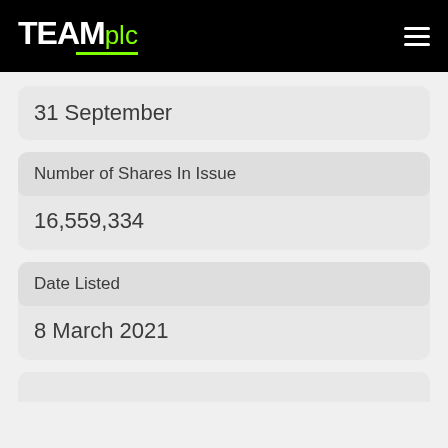TEAM plc
31 September
Number of Shares In Issue
16,559,334
Date Listed
8 March 2021